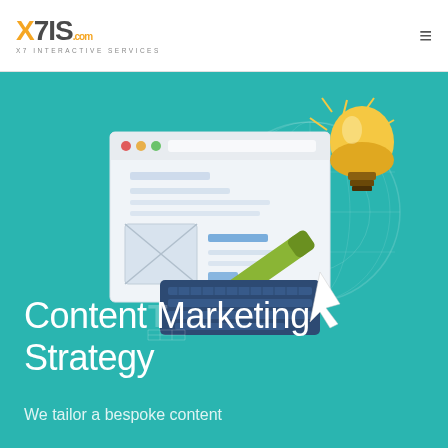X7IS.com X7 INTERACTIVE SERVICES
[Figure (illustration): Content marketing strategy illustration showing a web browser mockup with placeholder image and text, a fountain pen/stylus writing on it, a glowing lightbulb, a globe/grid overlay, a dark keyboard, a mouse cursor arrow, and a typography 'T' symbol on a teal background.]
Content Marketing Strategy
We tailor a bespoke content